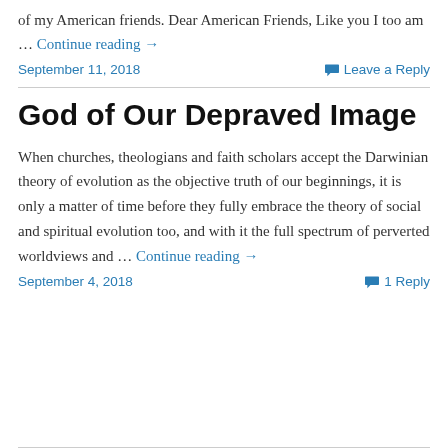of my American friends. Dear American Friends, Like you I too am … Continue reading →
September 11, 2018
Leave a Reply
God of Our Depraved Image
When churches, theologians and faith scholars accept the Darwinian theory of evolution as the objective truth of our beginnings, it is only a matter of time before they fully embrace the theory of social and spiritual evolution too, and with it the full spectrum of perverted worldviews and … Continue reading →
September 4, 2018
1 Reply